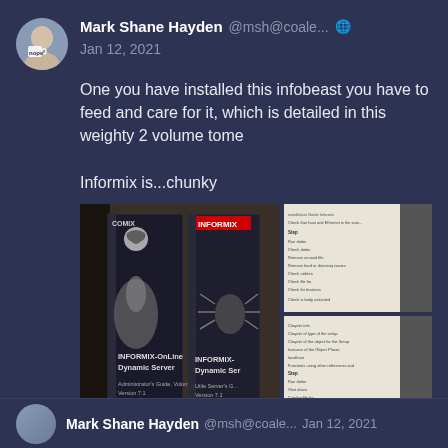Mark Shane Hayden @msh@coale... Jan 12, 2021
One you have installed this infobeast you have to feed and care for it, which is detailed in this weighty 2 volume tome

Informix is...chunky
[Figure (photo): Two large Informix Dynamic Server manual books side by side (left photo), and two close-up photos of book index pages (right column)]
1+ (retweet icon) (star icon)
Mark Shane Hayden @msh@coale... Jan 12, 2021